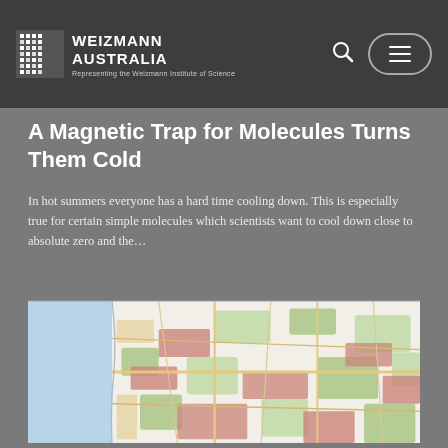WEIZMANN AUSTRALIA — Representing the Weizmann Institute of Science
A Magnetic Trap for Molecules Turns Them Cold
In hot summers everyone has a hard time cooling down. This is especially true for certain simple molecules which scientists want to cool down close to absolute zero and the…
[Figure (map): A street/regional map showing coastal area with roads, green spaces, and urban zones, appearing to depict the area around the Weizmann Institute of Science in Israel.]